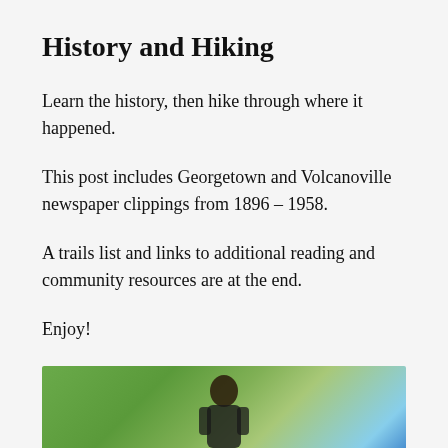History and Hiking
Learn the history, then hike through where it happened.
This post includes Georgetown and Volcanoville newspaper clippings from 1896 – 1958.
A trails list and links to additional reading and community resources are at the end.
Enjoy!
[Figure (photo): Bottom portion of a photo showing a person outdoors with green foliage and blue sky in the background]